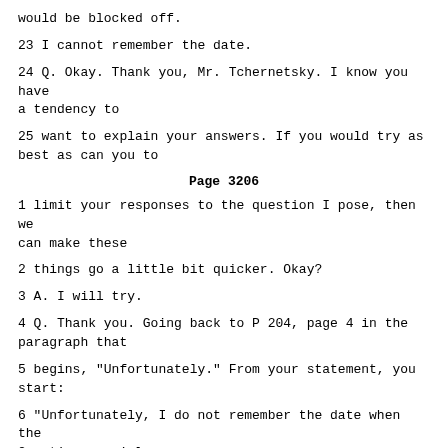would be blocked off.
23 I cannot remember the date.
24 Q. Okay. Thank you, Mr. Tchernetsky. I know you have a tendency to
25 want to explain your answers. If you would try as best as can you to
Page 3206
1 limit your responses to the question I pose, then we can make these
2 things go a little bit quicker. Okay?
3 A. I will try.
4 Q. Thank you. Going back to P 204, page 4 in the paragraph that
5 begins, "Unfortunately." From your statement, you start:
6 "Unfortunately, I do not remember the date when the Croatian special
7 police were conducting the mop-up operation in Plavno valley. We were on
8 patrol when we discovered this fact."